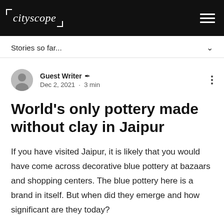cityscope
Stories so far...
Guest Writer ✒ Dec 2, 2021 · 3 min
World's only pottery made without clay in Jaipur
If you have visited Jaipur, it is likely that you would have come across decorative blue pottery at bazaars and shopping centers. The blue pottery here is a brand in itself. But when did they emerge and how significant are they today?